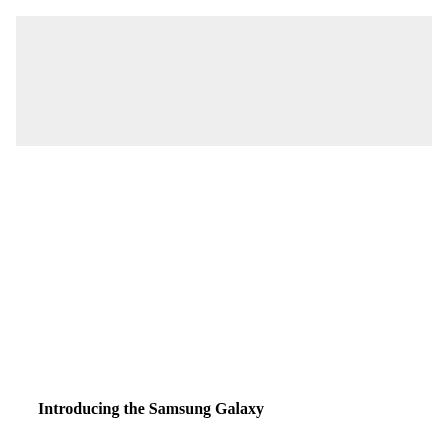[Figure (other): A light gray rectangular placeholder image area at the top of the page.]
Introducing the Samsung Galaxy